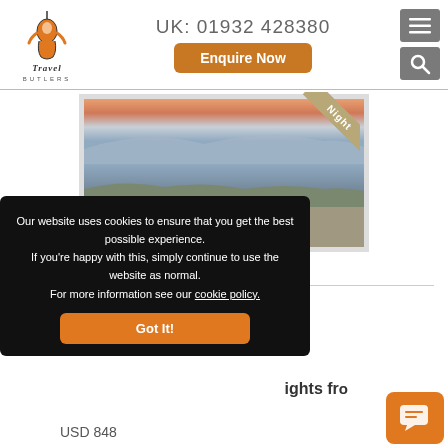Travel Butlers — UK: 01932 428380 — Enquire Now
[Figure (photo): Outdoor breakfast table with two ornate iron chairs overlooking a coastal seascape at sunset, with mountains in the background]
Code: SA-5402
(The) in
ights fro
USD 848
Our website uses cookies to ensure that you get the best possible experience. If you're happy with this, simply continue to use the website as normal. For more information see our cookie policy.
Got It!